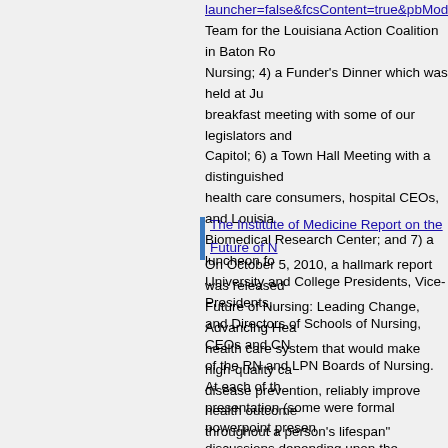launcher=false&fcsContent=true&pbMode=norma... Team for the Louisiana Action Coalition in Baton Ro... Nursing; 4) a Funder's Dinner which was held at Ju... breakfast meeting with some of our legislators and ... Capitol; 6) a Town Hall Meeting with a distinguished... health care consumers, hospital CEOs, and Louisia... Biomedical Research Center; and 7) a luncheon fo... University and College Presidents, Vice-Presidents,... and Directors of Schools of Nursing, CEOs and CN... of the RN and LPN Boards of Nursing. At each of th... presentation (some were formal powerpoint presen... discussions depending upon the audience) followe... Louisiana Action Coalition about the Future of Nursi...
The Institute of Medicine Report on the Future of N...
On October 5, 2010, a hallmark report was released... Future of Nursing: Leading Change, Advancing Hea... health care system that would make high-quality ca... disease prevention, reliably improve health outcome... throughout a person's lifespan"(Hassmiller, 2010). T... Future of Nursing is about how nursing can take the... the citizens of our country. Eight major recommenda... based on 4 key messages. The report in its entirety... http://thefutureofnursing.org/IOM-Report.